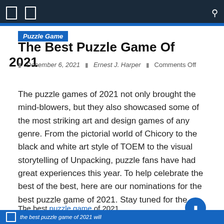Navigation bar with icons
Puzzle Game
The Best Puzzle Game Of 2021
December 6, 2021 | Ernest J. Harper | Comments Off
The puzzle games of 2021 not only brought the mind-blowers, but they also showcased some of the most striking art and design games of any genre. From the pictorial world of Chicory to the black and white art style of TOEM to the visual storytelling of Unpacking, puzzle fans have had great experiences this year. To help celebrate the best of the best, here are our nominations for the best puzzle game of 2021. Stay tuned for the winner.
The best puzzle game of 2021
the best puzzle game of 2021 will